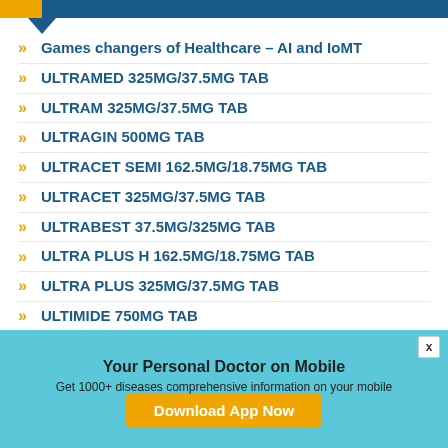Games changers of Healthcare – AI and IoMT
ULTRAMED 325MG/37.5MG TAB
ULTRAM 325MG/37.5MG TAB
ULTRAGIN 500MG TAB
ULTRACET SEMI 162.5MG/18.75MG TAB
ULTRACET 325MG/37.5MG TAB
ULTRABEST 37.5MG/325MG TAB
ULTRA PLUS H 162.5MG/18.75MG TAB
ULTRA PLUS 325MG/37.5MG TAB
ULTIMIDE 750MG TAB
ULTIFIX PLUS TAB
Your Personal Doctor on Mobile
Get 1000+ diseases comprehensive information on your mobile
Download App Now